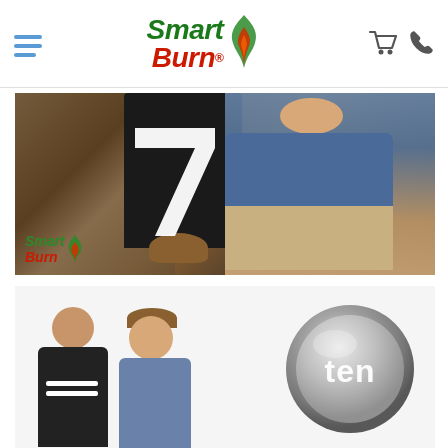Smart Burn - navigation header with hamburger menu, Smart Burn logo, cart and phone icons
[Figure (screenshot): Video thumbnail showing a man in a blue shirt kneeling by a stone fireplace, with a white Channel 7 chevron logo overlaid in the center, and a Smart Burn logo in the bottom-left corner. Dark/warm interior background.]
[Figure (screenshot): Promotional image with a light grey background showing two people (a man in black t-shirt and a woman in denim jacket) standing on the left, with a Channel Ten (network ten) silver/grey circular logo on the right.]